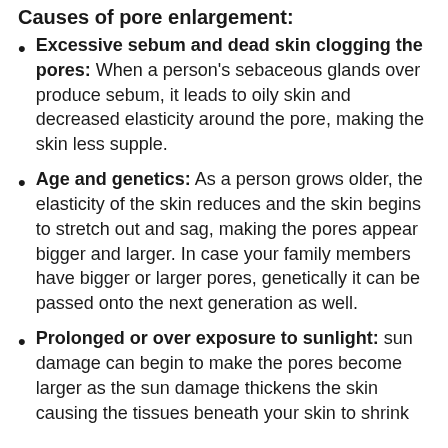Causes of pore enlargement:
Excessive sebum and dead skin clogging the pores: When a person's sebaceous glands over produce sebum, it leads to oily skin and decreased elasticity around the pore, making the skin less supple.
Age and genetics: As a person grows older, the elasticity of the skin reduces and the skin begins to stretch out and sag, making the pores appear bigger and larger. In case your family members have bigger or larger pores, genetically it can be passed onto the next generation as well.
Prolonged or over exposure to sunlight: sun damage can begin to make the pores become larger as the sun damage thickens the skin causing the tissues beneath your skin to shrink